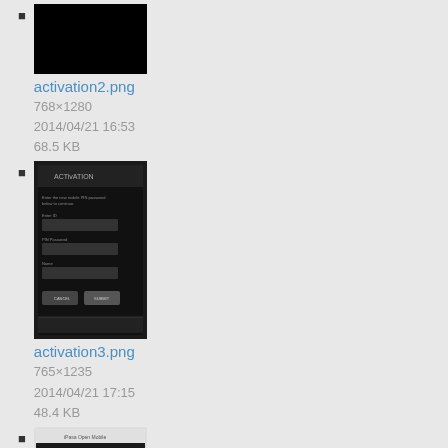activation2.png
768×1280
2014/04/21 16:53
68.5 KB
activation3.png
765×1235
2014/04/21 17:15
48.4 KB
activation_code_ios.png
640×960